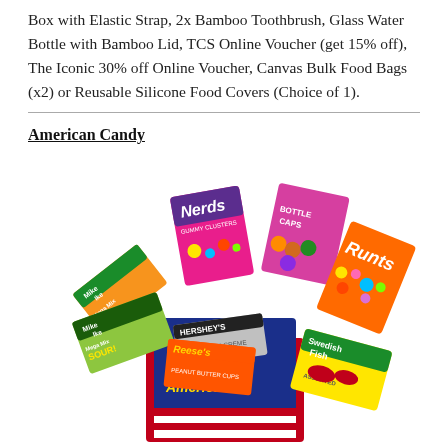Box with Elastic Strap, 2x Bamboo Toothbrush, Glass Water Bottle with Bamboo Lid, TCS Online Voucher (get 15% off), The Iconic 30% off Online Voucher, Canvas Bulk Food Bags (x2) or Reusable Silicone Food Covers (Choice of 1).
American Candy
[Figure (photo): A colorful arrangement of American candy boxes and packages fanned out from a red and blue 'World's Greatest American Candy' bag. Visible brands include Mike and Ike Mega Mix, Mike and Ike Mega Mix Sour, Nerds, Bottle Caps, Runts, Hershey's, Reese's, and Swedish Fish Assorted.]